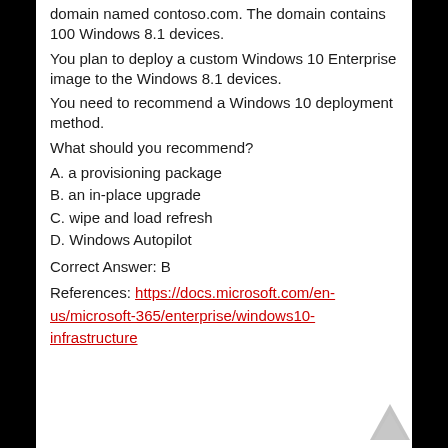domain named contoso.com. The domain contains 100 Windows 8.1 devices.
You plan to deploy a custom Windows 10 Enterprise image to the Windows 8.1 devices.
You need to recommend a Windows 10 deployment method.
What should you recommend?
A. a provisioning package
B. an in-place upgrade
C. wipe and load refresh
D. Windows Autopilot
Correct Answer: B
References: https://docs.microsoft.com/en-us/microsoft-365/enterprise/windows10-infrastructure